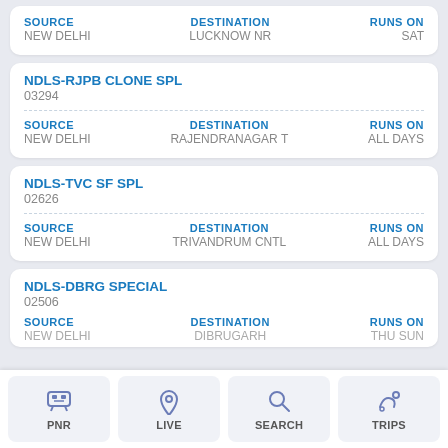| SOURCE | DESTINATION | RUNS ON |
| --- | --- | --- |
| NEW DELHI | LUCKNOW NR | SAT |
NDLS-RJPB CLONE SPL
03294
| SOURCE | DESTINATION | RUNS ON |
| --- | --- | --- |
| NEW DELHI | RAJENDRANAGAR T | ALL DAYS |
NDLS-TVC SF SPL
02626
| SOURCE | DESTINATION | RUNS ON |
| --- | --- | --- |
| NEW DELHI | TRIVANDRUM CNTL | ALL DAYS |
NDLS-DBRG SPECIAL
02506
| SOURCE | DESTINATION | RUNS ON |
| --- | --- | --- |
| NEW DELHI | DIBRUGARH | THU SUN |
PNR | LIVE | SEARCH | TRIPS